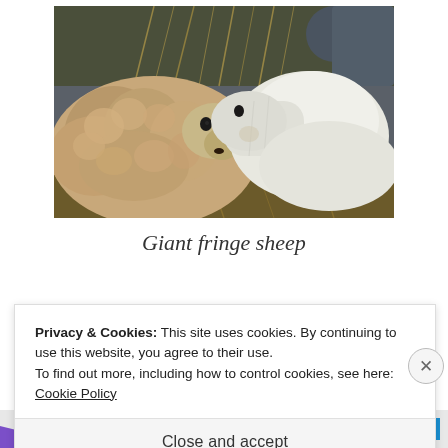[Figure (photo): Two sheep facing each other — a large woolly sheep with long curly fleece on the left and a smaller white sheep on the right, appearing to nuzzle. Background shows hay and metal fencing/pipes.]
Giant fringe sheep
Privacy & Cookies: This site uses cookies. By continuing to use this website, you agree to their use.
To find out more, including how to control cookies, see here: Cookie Policy
Close and accept